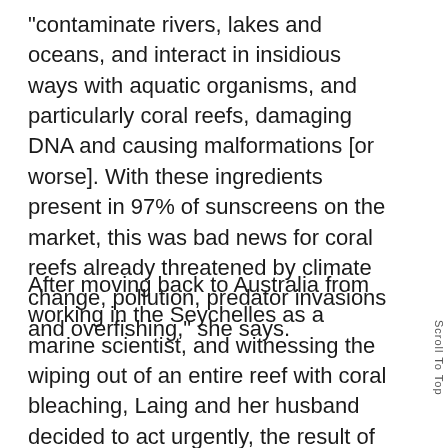“contaminate rivers, lakes and oceans, and interact in insidious ways with aquatic organisms, and particularly coral reefs, damaging DNA and causing malformations [or worse]. With these ingredients present in 97% of sunscreens on the market, this was bad news for coral reefs already threatened by climate change, pollution, predator invasions and overfishing,” she says.
After moving back to Australia from working in the Seychelles as a marine scientist, and witnessing the wiping out of an entire reef with coral bleaching, Laing and her husband decided to act urgently, the result of which was the creation of People4Ocean Sun Care. “[The brand was created] with a simple intention: to end sunscreen pollution in our oceans